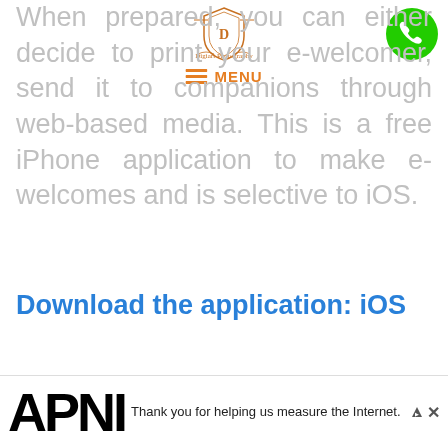[Figure (logo): Digiart Photography logo with ornate shield emblem and decorative borders]
[Figure (other): Green phone call button circle in top right corner]
[Figure (other): Orange hamburger menu icon with MENU text]
When prepared, you can either decide to print your e-welcomer, send it to companions through web-based media. This is a free iPhone application to make e-welcomes and is selective to iOS.
Download the application: iOS
[Figure (screenshot): Screenshot of a website shown inside a laptop/monitor frame with dark bezel. The site appears to be a photo gallery application with a red navigation bar, sidebar, and photo content showing a person silhouetted against warm sunset colors, with a dark panel on the right showing thumbnail images.]
[Figure (other): Scroll down chevron button on bottom left]
[Figure (other): APNIC advertisement banner at bottom with large bold APNIC text and message: Thank you for helping us measure the Internet.]